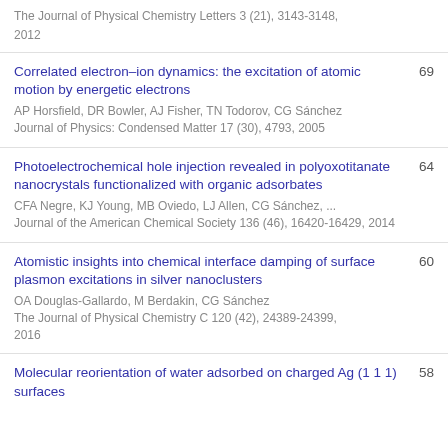The Journal of Physical Chemistry Letters 3 (21), 3143-3148, 2012
Correlated electron–ion dynamics: the excitation of atomic motion by energetic electrons
AP Horsfield, DR Bowler, AJ Fisher, TN Todorov, CG Sánchez
Journal of Physics: Condensed Matter 17 (30), 4793, 2005 — 69
Photoelectrochemical hole injection revealed in polyoxotitanate nanocrystals functionalized with organic adsorbates
CFA Negre, KJ Young, MB Oviedo, LJ Allen, CG Sánchez, ...
Journal of the American Chemical Society 136 (46), 16420-16429, 2014 — 64
Atomistic insights into chemical interface damping of surface plasmon excitations in silver nanoclusters
OA Douglas-Gallardo, M Berdakin, CG Sánchez
The Journal of Physical Chemistry C 120 (42), 24389-24399, 2016 — 60
Molecular reorientation of water adsorbed on charged Ag (1 1 1) surfaces — 58